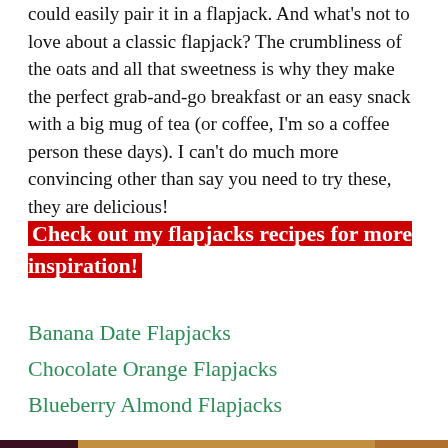could easily pair it in a flapjack. And what's not to love about a classic flapjack? The crumbliness of the oats and all that sweetness is why they make the perfect grab-and-go breakfast or an easy snack with a big mug of tea (or coffee, I'm so a coffee person these days). I can't do much more convincing other than say you need to try these, they are delicious!
Check out my flapjacks recipes for more inspiration!
Banana Date Flapjacks
Chocolate Orange Flapjacks
Blueberry Almond Flapjacks
[Figure (photo): Photo of flapjacks with cherries, nuts, and drizzled icing, showing baked oat bars with toppings]